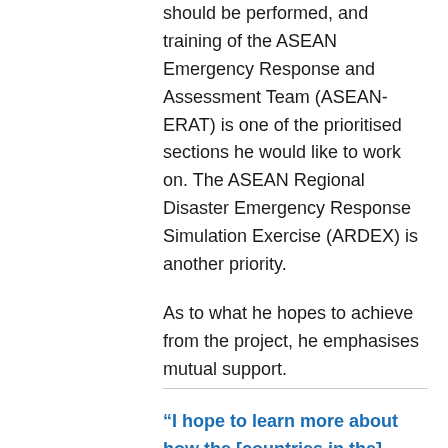should be performed, and training of the ASEAN Emergency Response and Assessment Team (ASEAN-ERAT) is one of the prioritised sections he would like to work on. The ASEAN Regional Disaster Emergency Response Simulation Exercise (ARDEX) is another priority.
As to what he hopes to achieve from the project, he emphasises mutual support.
“I hope to learn more about how the [countries in the] region support each other and how LACER can support this work to be more effective and precise,”